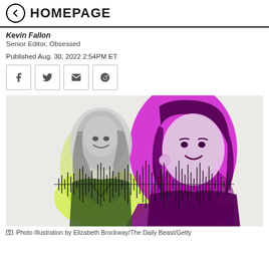← HOMEPAGE
Kevin Fallon
Senior Editor, Obsessed
Published Aug. 30, 2022 2:54PM ET
[Figure (other): Share buttons: Facebook, Twitter, Email, Reddit]
[Figure (photo): Photo illustration showing two women (Mariah Carey in black and white with yellow-green color overlay, and Meghan Markle with purple/magenta color overlay) with a sound waveform graphic across the middle. Background is light gray.]
Photo Illustration by Elizabeth Brockway/The Daily Beast/Getty